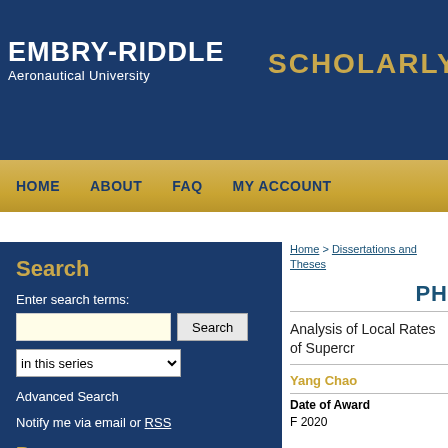EMBRY-RIDDLE Aeronautical University — SCHOLARLY C
HOME   ABOUT   FAQ   MY ACCOUNT
Search
Enter search terms:
in this series
Advanced Search
Notify me via email or RSS
Browse
Collections
Home > Dissertations and Theses
PH
Analysis of Local Rates of Superch
Yang Chao
Date of Award
F 2020